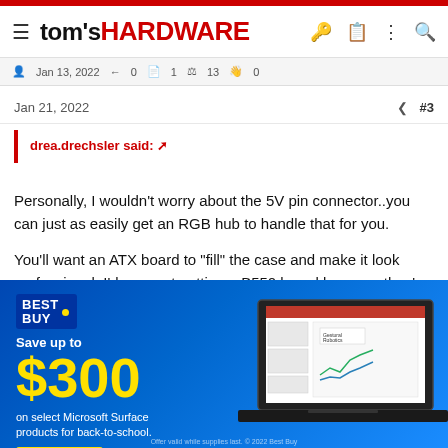tom's HARDWARE
Jan 13, 2022   0   1   13   0
Jan 21, 2022   #3
drea.drechsler said:
Personally, I wouldn't worry about the 5V pin connector..you can just as easily get an RGB hub to handle that for you.

You'll want an ATX board to "fill" the case and make it look professional. I'd suggest getting a B550 board because they're more economical and still provide full functionality for your CPU
[Figure (screenshot): Best Buy advertisement banner showing 'Save up to $300 on select Microsoft Surface products for back-to-school. Shop Now' with a laptop image on the right.]